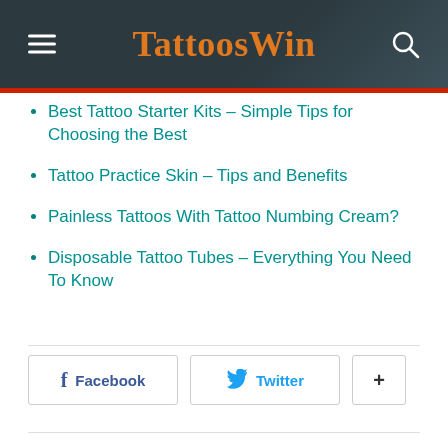TattoosWin
Best Tattoo Starter Kits – Simple Tips for Choosing the Best
Tattoo Practice Skin – Tips and Benefits
Painless Tattoos With Tattoo Numbing Cream?
Disposable Tattoo Tubes – Everything You Need To Know
Facebook  Twitter  +